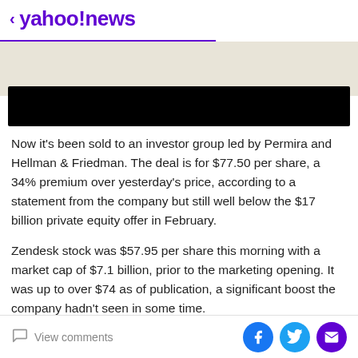< yahoo!news
[Figure (other): Black redacted banner image below beige header area]
Now it's been sold to an investor group led by Permira and Hellman & Friedman. The deal is for $77.50 per share, a 34% premium over yesterday's price, according to a statement from the company but still well below the $17 billion private equity offer in February.
Zendesk stock was $57.95 per share this morning with a market cap of $7.1 billion, prior to the marketing opening. It was up to over $74 as of publication, a significant boost the company hadn't seen in some time.
View comments